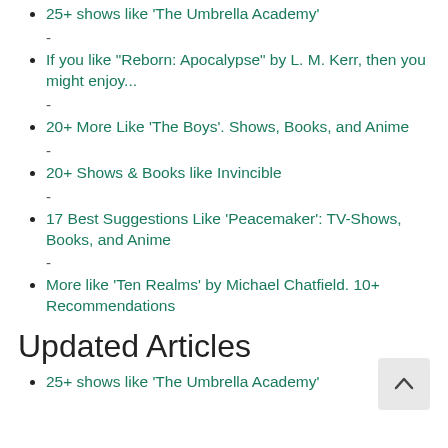25+ shows like 'The Umbrella Academy'
-
If you like "Reborn: Apocalypse" by L. M. Kerr, then you might enjoy...
-
20+ More Like 'The Boys'. Shows, Books, and Anime
-
20+ Shows & Books like Invincible
-
17 Best Suggestions Like 'Peacemaker': TV-Shows, Books, and Anime
-
More like 'Ten Realms' by Michael Chatfield. 10+ Recommendations
Updated Articles
25+ shows like 'The Umbrella Academy'